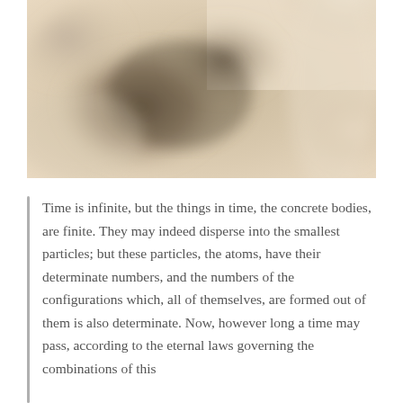[Figure (photo): An abstract, blurry close-up photograph with warm beige, tan, and dark brown tones suggesting a soft sculptural or natural form. The image has a painterly, impressionistic quality with muted colors.]
Time is infinite, but the things in time, the concrete bodies, are finite. They may indeed disperse into the smallest particles; but these particles, the atoms, have their determinate numbers, and the numbers of the configurations which, all of themselves, are formed out of them is also determinate. Now, however long a time may pass, according to the eternal laws governing the combinations of this